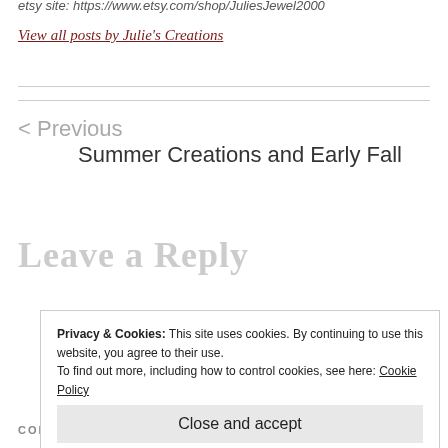etsy site: https://www.etsy.com/shop/JuliesJewel2000
View all posts by Julie's Creations
< Previous
Summer Creations and Early Fall
Leave a Reply
Privacy & Cookies: This site uses cookies. By continuing to use this website, you agree to their use.
To find out more, including how to control cookies, see here: Cookie Policy
Close and accept
COMMENT *